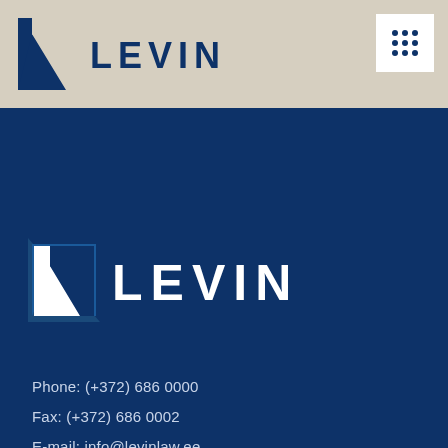[Figure (logo): Levin law firm logo in header bar — white L-shaped angular mark with LEVIN text in dark navy]
[Figure (other): 3x3 grid icon in white square box, top right corner]
[Figure (logo): Levin law firm logo large version on dark navy background — white L-shaped angular mark with LEVIN text in white]
Phone: (+372) 686 0000
Fax: (+372) 686 0002
E-mail: info@levinlaw.ee
Address: Maakri 19/1, 10145 Tallinn, Eesti
SEE LOCATION ON MAP
JOIN THE NEWSLETTER